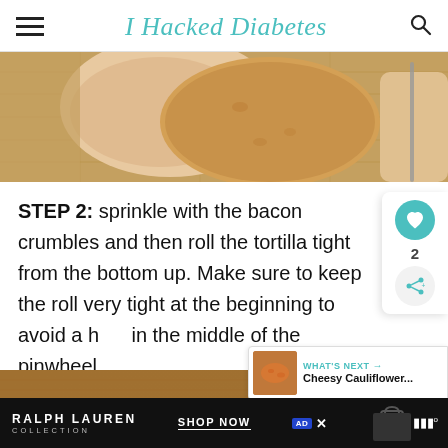I Hacked Diabetes
[Figure (photo): Close-up photo of hands rolling a tortilla on a wooden cutting board, with a knife visible on the right side]
STEP 2: sprinkle with the bacon crumbles and then roll the tortilla tight from the bottom up. Make sure to keep the roll very tight at the beginning to avoid a hole in the middle of the pinwheel.
[Figure (photo): Partial photo of food visible at the bottom of the page]
RALPH LAUREN COLLECTION   SHOP NOW   [Ad]